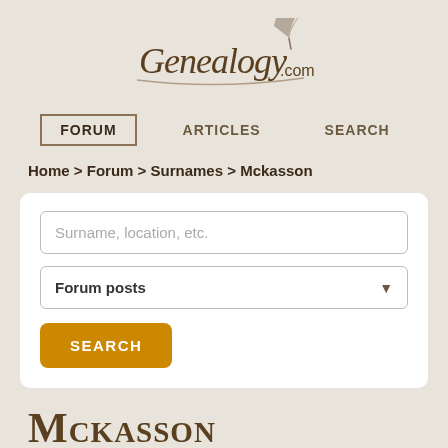[Figure (logo): Genealogy.com logo in cursive/script font with a quill feather icon]
FORUM  ARTICLES  SEARCH
Home > Forum > Surnames > Mckasson
Surname, location, etc.
Forum posts
SEARCH
Mckasson
15 results